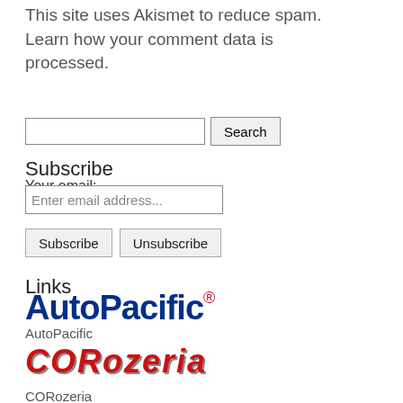This site uses Akismet to reduce spam. Learn how your comment data is processed.
[Figure (screenshot): Search input field with Search button]
Subscribe
Your email:
[Figure (screenshot): Email input field with placeholder 'Enter email address...']
[Figure (screenshot): Subscribe and Unsubscribe buttons]
Links
[Figure (logo): AutoPacific logo in blue with red registered trademark symbol]
AutoPacific
[Figure (logo): CORozeria logo in red italic bold font with shadow]
CORozeria